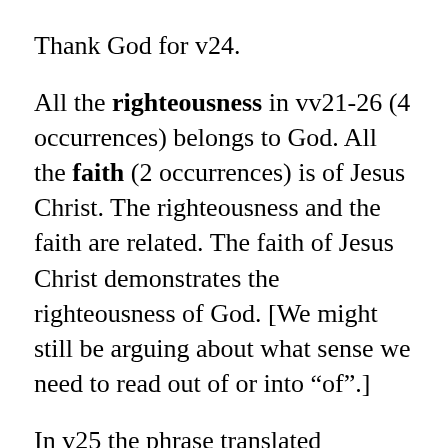Thank God for v24.
All the righteousness in vv21-26 (4 occurrences) belongs to God. All the faith (2 occurrences) is of Jesus Christ. The righteousness and the faith are related. The faith of Jesus Christ demonstrates the righteousness of God. [We might still be arguing about what sense we need to read out of or into “of”.]
In v25 the phrase translated “sacrifice of atonement” in the NRSV is a technical term about which there is some ongoing disagreement; it might refer to a “place” of